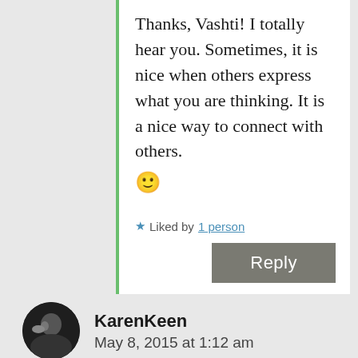Thanks, Vashti! I totally hear you. Sometimes, it is nice when others express what you are thinking. It is a nice way to connect with others. 🙂
★ Liked by 1 person
Reply
KarenKeen
May 8, 2015 at 1:12 am
love it! and so true! we definitely need to laugh more!